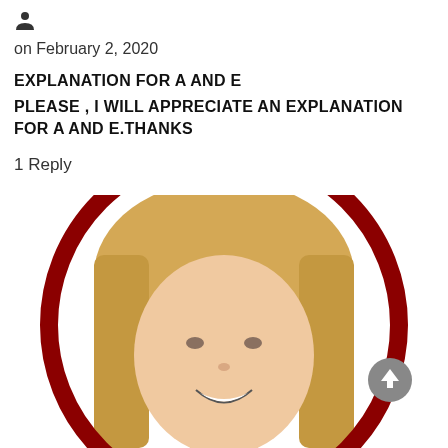[Figure (other): User profile icon (person silhouette)]
on February 2, 2020
EXPLANATION FOR A AND E
PLEASE , I WILL APPRECIATE AN EXPLANATION FOR A AND E.THANKS
1 Reply
[Figure (photo): Circular profile photo with dark red border ring showing a smiling blonde woman, cropped at bottom. A grey scroll-to-top button is visible at bottom right.]